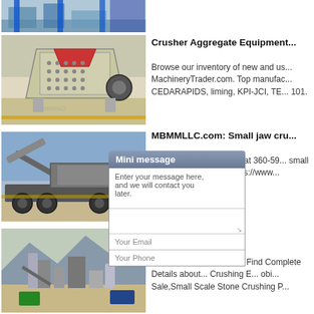[Figure (photo): Partial view of industrial crusher machinery on factory floor with blue supports]
[Figure (photo): Large jaw/impact crusher aggregate equipment in factory, cream/yellow colored]
Crusher Aggregate Equipment...
Browse our inventory of new and used MachineryTrader.com. Top manufacturers include CEDARAPIDS, liming, KPI-JCI, TE... 101.
[Figure (photo): Mobile crusher unit on truck/trailer on outdoor site]
MBMMLLC.com: Small jaw cru...
Jun 23, 2013  Call Jason at 360-59... small jaw ... eb... https://www...
[Figure (photo): Mini message popup overlay with text entry fields: message textarea, Your Email, Your Phone]
[Figure (photo): Stone crushing plant in outdoor/mountainous setting]
Professio... se...
Nov 03, 20... ufa... Sale , Find Complete Details about... Crushing E... obi... Sale,Small Scale Stone Crushing P...